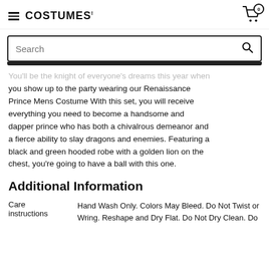COSTUMES! [cart icon, 0 items]
[Figure (screenshot): Search bar with magnifying glass icon]
You'll be the knight of everyone's dreams this year when you show up to the party wearing our Renaissance Prince Mens Costume With this set, you will receive everything you need to become a handsome and dapper prince who has both a chivalrous demeanor and a fierce ability to slay dragons and enemies. Featuring a black and green hooded robe with a golden lion on the chest, you're going to have a ball with this one.
Additional Information
| Care instructions | Hand Wash Only. Colors May Bleed. Do Not Twist or Wring. Reshape and Dry Flat. Do Not Dry Clean. Do |